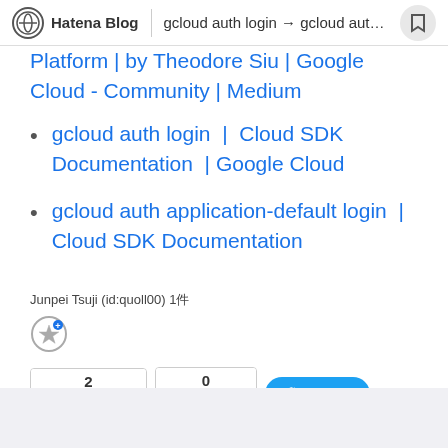Hatena Blog | gcloud auth login → gcloud auth...
Platform | by Theodore Siu | Google Cloud - Community | Medium
gcloud auth login  |  Cloud SDK Documentation  |  Google Cloud
gcloud auth application-default login  |  Cloud SDK Documentation
Junpei Tsuji (id:quoll00) 1件
[Figure (screenshot): Social share buttons: B! Bookmark (2), Facebook share (0), Twitter share button]